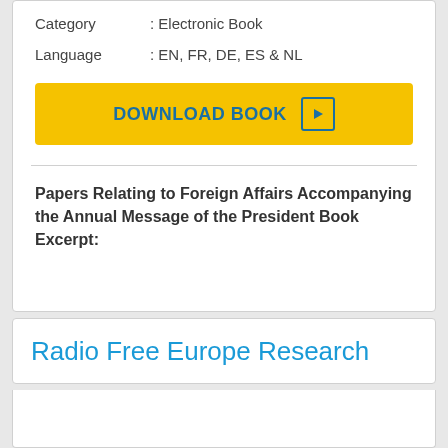Category : Electronic Book
Language : EN, FR, DE, ES & NL
[Figure (other): Yellow download button with text 'DOWNLOAD BOOK' and a play icon]
Papers Relating to Foreign Affairs Accompanying the Annual Message of the President Book Excerpt:
Radio Free Europe Research